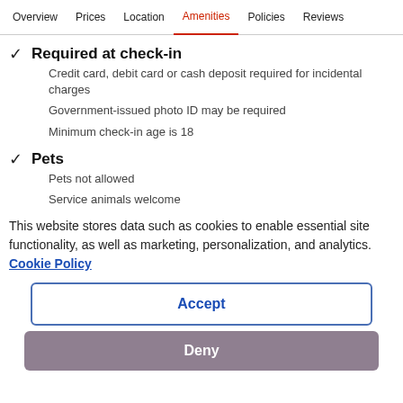Overview  Prices  Location  Amenities  Policies  Reviews
✓ Required at check-in
Credit card, debit card or cash deposit required for incidental charges
Government-issued photo ID may be required
Minimum check-in age is 18
✓ Pets
Pets not allowed
Service animals welcome
This website stores data such as cookies to enable essential site functionality, as well as marketing, personalization, and analytics. Cookie Policy
Accept
Deny